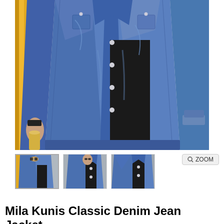[Figure (photo): Main product photo of a person wearing a classic blue denim jean jacket over a black shirt, holding a drink, with a yellow pole visible on the left and a car in the background. Sleeves are rolled up slightly.]
[Figure (photo): Three thumbnail images of the denim jacket product: first shows a wider angled walking shot with sunglasses, second shows a closer front view, third shows a close-up of the jacket front.]
Mila Kunis Classic Denim Jean Jacket